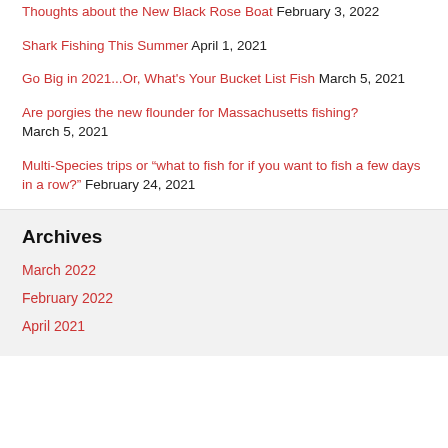Thoughts about the New Black Rose Boat February 3, 2022
Shark Fishing This Summer April 1, 2021
Go Big in 2021...Or, What's Your Bucket List Fish March 5, 2021
Are porgies the new flounder for Massachusetts fishing? March 5, 2021
Multi-Species trips or “what to fish for if you want to fish a few days in a row?” February 24, 2021
Archives
March 2022
February 2022
April 2021